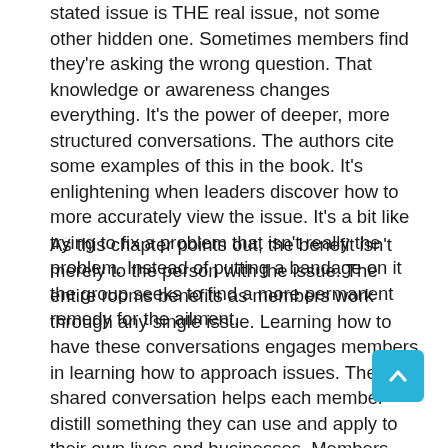stated issue is THE real issue, not some other hidden one. Sometimes members find they're asking the wrong question. That knowledge or awareness changes everything. It's the power of deeper, more structured conversations. The authors cite some examples of this in the book. It's enlightening when leaders discover how to more accurately view the issue. It's a bit like trying to fix a problem that isn't really the problem. Instead of putting a bandage on it the group seeks to find a more permanent remedy for the ailment.
As this chapter points out, the benefit isn't merely to the person with the issue. The entire rooms benefits as members work through any single issue. Learning how to have these conversations engages members in learning how to approach issues. The shared conversation helps each member distill something they can use and apply to their own lives and businesses. Members may end the conversation with some